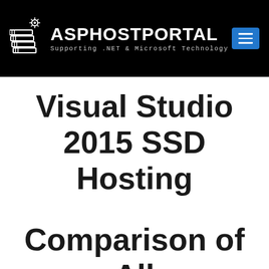[Figure (logo): ASPHostPortal logo with stacked server icon and gear, white text on black background with menu button]
Visual Studio 2015 SSD Hosting
Comparison of All